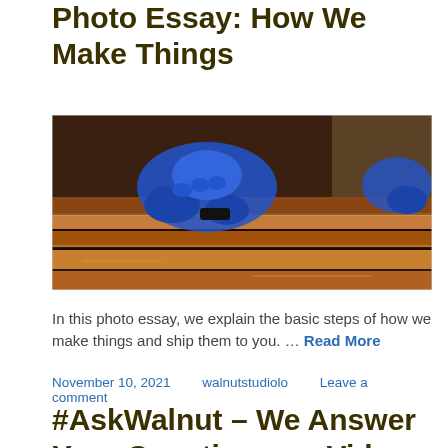Photo Essay: How We Make Things
[Figure (photo): Hands wearing blue latex gloves applying stain or finish to wooden slat boards on a workbench]
In this photo essay, we explain the basic steps of how we make things and ship them to you. … Read More
November 10, 2021   walnutstudiolo   Leave a comment
#AskWalnut – We Answer Your Questions on Video